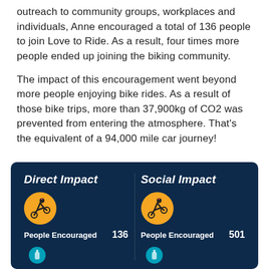outreach to community groups, workplaces and individuals, Anne encouraged a total of 136 people to join Love to Ride. As a result, four times more people ended up joining the biking community.
The impact of this encouragement went beyond more people enjoying bike rides. As a result of those bike trips, more than 37,900kg of CO2 was prevented from entering the atmosphere. That's the equivalent of a 94,000 mile car journey!
[Figure (infographic): Dark navy infographic panel showing Direct Impact and Social Impact columns side by side, each with a cyclist icon on a yellow circle. Direct Impact: People Encouraged 136. Social Impact: People Encouraged 501. Partial road/milestone icons visible at the bottom of each column.]